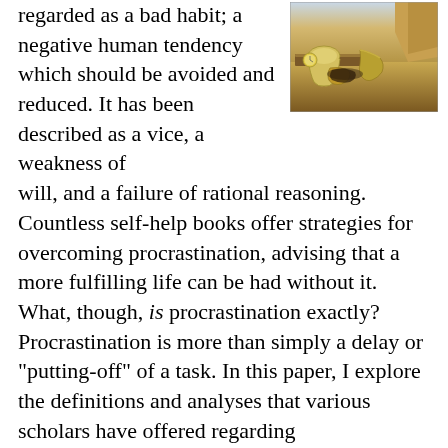regarded as a bad habit; a negative human tendency which should be avoided and reduced. It has been described as a vice, a weakness of will, and a failure of rational reasoning. Countless self-help books offer strategies for overcoming procrastination, advising that a more fulfilling life can be had without it. What, though, is procrastination exactly? Procrastination is more than simply a delay or "putting-off" of a task. In this paper, I explore the definitions and analyses that various scholars have offered regarding procrastination, as well as the connotations that accompany it. This paper challenges the assumption that procrastination is an inherently negative, damaging phenomenon that should be eliminated in the ideal human life. I argue that procrastination is a passive-aggressive revolt against an overly-structured life, and as
[Figure (photo): A reproduction of Salvador Dali's 'The Persistence of Memory' painting, showing melting clocks draped over a surreal landscape.]